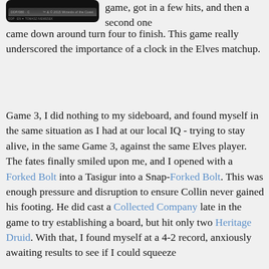[Figure (photo): Magic: The Gathering card image showing a dark card face with small text at the bottom. Bottom text reads: DDP-EN by Tomarz Niemesek. TM & C 2015 Wizards of the Coast.]
game, got in a few hits, and then a second one came down around turn four to finish. This game really underscored the importance of a clock in the Elves matchup.
Game 3, I did nothing to my sideboard, and found myself in the same situation as I had at our local IQ - trying to stay alive, in the same Game 3, against the same Elves player. The fates finally smiled upon me, and I opened with a Forked Bolt into a Tasigur into a Snap-Forked Bolt. This was enough pressure and disruption to ensure Collin never gained his footing. He did cast a Collected Company late in the game to try establishing a board, but hit only two Heritage Druid. With that, I found myself at a 4-2 record, anxiously awaiting results to see if I could squeeze